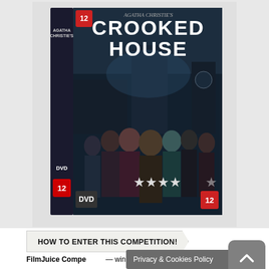[Figure (photo): DVD box of Agatha Christie's Crooked House. The box shows a grand Gothic mansion under dark, moody skies. Multiple cast members are arranged in front of the building. The spine of the DVD case reads 'Agatha Christie's Crooked House'. The front cover has the title 'CROOKED HOUSE' in large white letters, four-and-a-half star rating, DVD logo, and a '12' rating certificate badge.]
HOW TO ENTER THIS COMPETITION!
FilmJuice Competition - win a copy of Crooked House w...